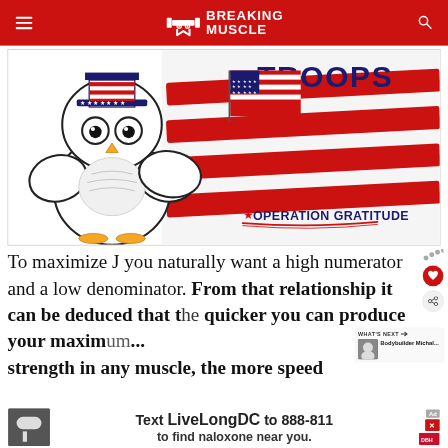BREAKING MUSCLE
[Figure (illustration): Operation Gratitude promotional image featuring a cartoon owl wearing a patriotic Uncle Sam hat and holding an American flag, with red brush strokes in the background and 'TROOPS' text. Logo reads 'OPERATION GRATITUDE' at the bottom.]
To maximize J you naturally want a high numerator and a low denominator. From that relationship it can be deduced that the quicker you can produce your maximum strength in any muscle, the more speed strength you can produce a
[Figure (screenshot): Bottom advertisement banner: 'Text LiveLongDC to 888-811 to find naloxone near you.' with ad controls and DBH logo.]